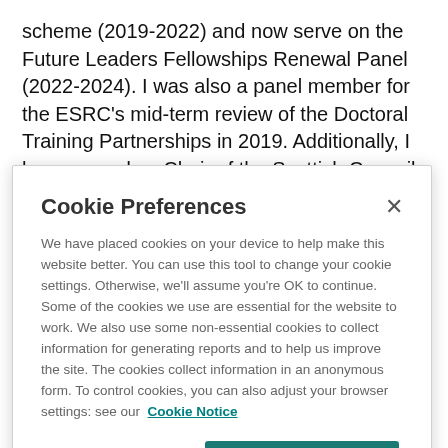scheme (2019-2022) and now serve on the Future Leaders Fellowships Renewal Panel (2022-2024). I was also a panel member for the ESRC's mid-term review of the Doctoral Training Partnerships in 2019. Additionally, I have served as Chair of the Scottish Council of Deans of Education (2018-2020) and have also been Strathclyde's lead for the Scottish Graduate School of Social Sciences (SGSSS) working with colleague
Cookie Preferences
We have placed cookies on your device to help make this website better. You can use this tool to change your cookie settings. Otherwise, we'll assume you're OK to continue. Some of the cookies we use are essential for the website to work. We also use some non-essential cookies to collect information for generating reports and to help us improve the site. The cookies collect information in an anonymous form. To control cookies, you can also adjust your browser settings: see our Cookie Notice
Cookies Settings
Accept All Cookies